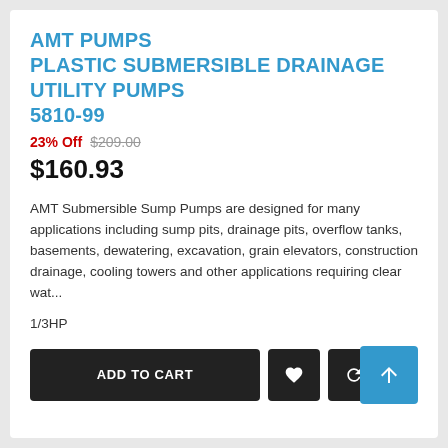AMT PUMPS PLASTIC SUBMERSIBLE DRAINAGE UTILITY PUMPS 5810-99
23% Off $209.00
$160.93
AMT Submersible Sump Pumps are designed for many applications including sump pits, drainage pits, overflow tanks, basements, dewatering, excavation, grain elevators, construction drainage, cooling towers and other applications requiring clear wat...
1/3HP